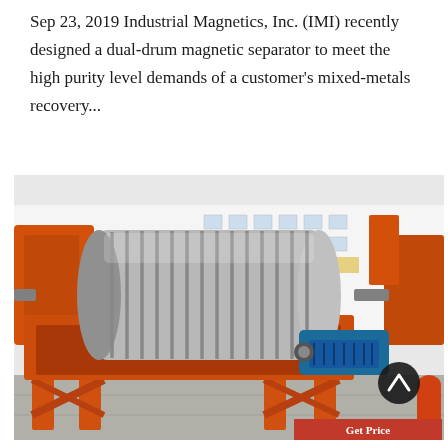Sep 23, 2019 Industrial Magnetics, Inc. (IMI) recently designed a dual-drum magnetic separator to meet the high purity level demands of a customer's mixed-metals recovery...
[Figure (photo): Photo of a large orange dual-drum magnetic separator machine on a factory floor. The machine has a large cylindrical silver drum with ribbed fins, mounted on an orange structural frame with legs. A blue electric motor is visible on the right side. The background shows a white industrial building and other orange machinery. A black circular scroll-up button and a red 'Get Price' button are overlaid on the image.]